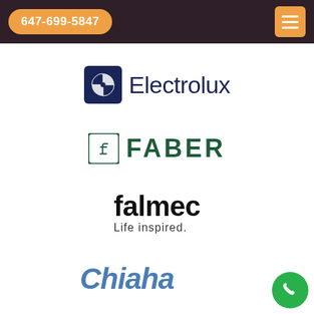647-699-5847
[Figure (logo): Electrolux logo with circular icon and navy blue text]
[Figure (logo): FABER logo with dark green icon and bold uppercase text]
[Figure (logo): falmec logo with bold black text and tagline 'Life inspired.']
[Figure (logo): Chiaha/Elba brand logo partially visible at bottom, italic blue text]